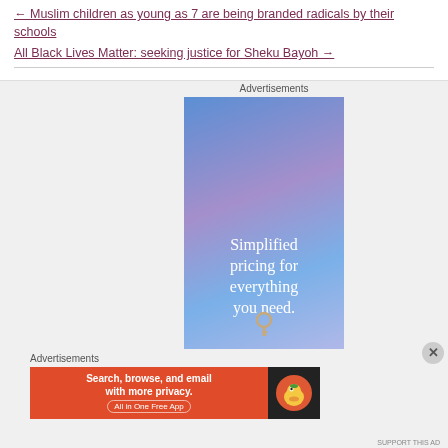← Muslim children as young as 7 are being branded radicals by their schools
All Black Lives Matter: seeking justice for Sheku Bayoh →
Advertisements
[Figure (illustration): Advertisement banner with blue-purple gradient background and text 'Simplified pricing for everything you need.' with a key icon at the bottom]
Advertisements
[Figure (illustration): DuckDuckGo advertisement: orange left panel with text 'Search, browse, and email with more privacy. All in One Free App' and dark right panel with DuckDuckGo duck logo]